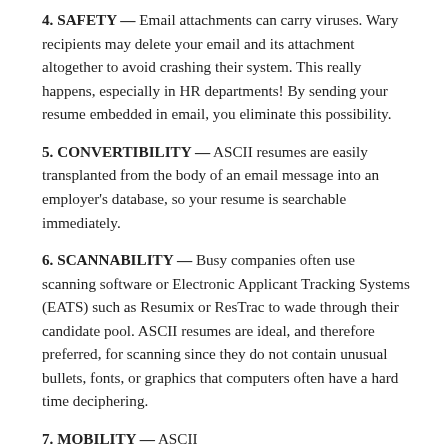4. SAFETY — Email attachments can carry viruses. Wary recipients may delete your email and its attachment altogether to avoid crashing their system. This really happens, especially in HR departments! By sending your resume embedded in email, you eliminate this possibility.
5. CONVERTIBILITY — ASCII resumes are easily transplanted from the body of an email message into an employer's database, so your resume is searchable immediately.
6. SCANNABILITY — Busy companies often use scanning software or Electronic Applicant Tracking Systems (EATS) such as Resumix or ResTrac to wade through their candidate pool. ASCII resumes are ideal, and therefore preferred, for scanning since they do not contain unusual bullets, fonts, or graphics that computers often have a hard time deciphering.
7. MOBILITY — ASCII...